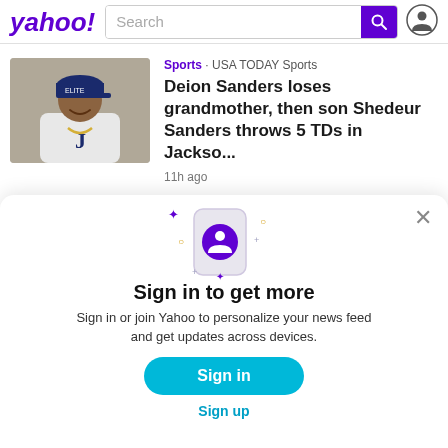[Figure (screenshot): Yahoo! logo with search bar and user icon in header]
[Figure (photo): Photo of Deion Sanders smiling, wearing a blue cap and white jersey]
Sports · USA TODAY Sports
Deion Sanders loses grandmother, then son Shedeur Sanders throws 5 TDs in Jackso...
11h ago
[Figure (illustration): Modal dialog icon: phone with purple user avatar and sparkle decorations]
Sign in to get more
Sign in or join Yahoo to personalize your news feed and get updates across devices.
Sign in
Sign up